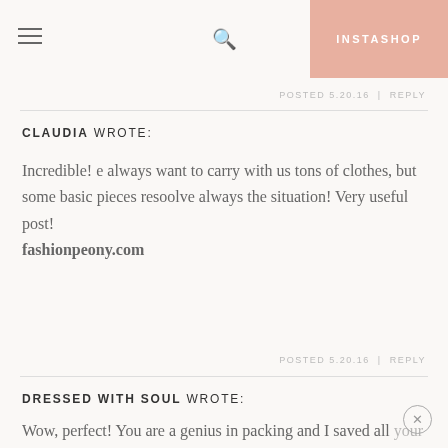INSTASHOP
POSTED 5.20.16  |  REPLY
CLAUDIA WROTE:
Incredible! e always want to carry with us tons of clothes, but some basic pieces resoolve always the situation! Very useful post!
fashionpeony.com
POSTED 5.20.16  |  REPLY
DRESSED WITH SOUL WROTE:
Wow, perfect! You are a genius in packing and I saved all your suggestions immediately on my phone as packing belongs definitely to the challenge in my life 🙂